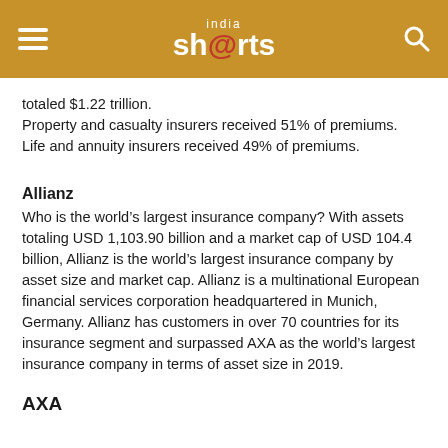india shorts
totaled $1.22 trillion.
Property and casualty insurers received 51% of premiums.
Life and annuity insurers received 49% of premiums.
Allianz
Who is the world’s largest insurance company? With assets totaling USD 1,103.90 billion and a market cap of USD 104.4 billion, Allianz is the world’s largest insurance company by asset size and market cap. Allianz is a multinational European financial services corporation headquartered in Munich, Germany. Allianz has customers in over 70 countries for its insurance segment and surpassed AXA as the world’s largest insurance company in terms of asset size in 2019.
AXA